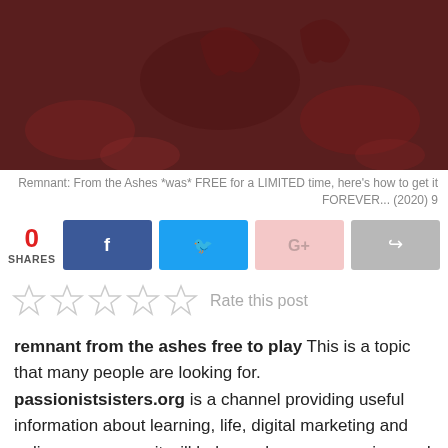[Figure (photo): Dark reddish fantasy/game screenshot with creature elements]
Remnant: From the Ashes *was* FREE for a LIMITED time, here's how to get it FOREVER... (2020) 9
0 SHARES
[Figure (infographic): Social share buttons: Facebook, Twitter, Google+, Share]
[Figure (infographic): Five empty star rating icons with 'Rate this post' label]
remnant from the ashes free to play This is a topic that many people are looking for. passionistsisters.org is a channel providing useful information about learning, life, digital marketing and online courses …. it will help you have an overview and solid multi-faceted knowledge . Today, passionistsisters.org would like to introduce to you Remnant: From the Ashes *was* FREE for a